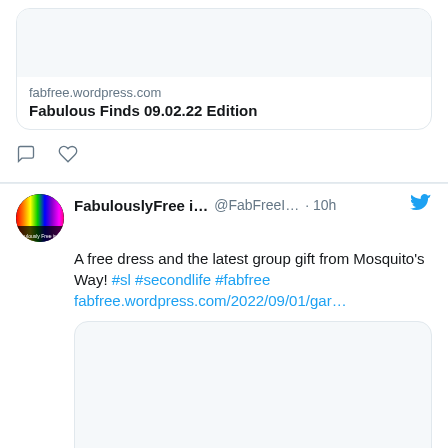[Figure (screenshot): Link preview image area (top, partial, blank/grey)]
fabfree.wordpress.com
Fabulous Finds 09.02.22 Edition
[Figure (other): Tweet action icons: comment bubble and heart]
[Figure (photo): FabulouslyFree in SL profile avatar — circular rainbow gradient logo]
FabulouslyFree i... @FabFreeI... · 10h
A free dress and the latest group gift from Mosquito's Way! #sl #secondlife #fabfree fabfree.wordpress.com/2022/09/01/gar…
[Figure (photo): Tweet embedded image preview (blank/grey rectangle)]